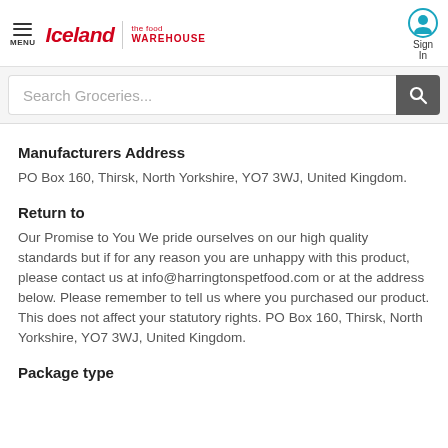MENU | Iceland | the food WAREHOUSE | Sign In
Search Groceries...
Manufacturers Address
PO Box 160, Thirsk, North Yorkshire, YO7 3WJ, United Kingdom.
Return to
Our Promise to You We pride ourselves on our high quality standards but if for any reason you are unhappy with this product, please contact us at info@harringtonspetfood.com or at the address below. Please remember to tell us where you purchased our product. This does not affect your statutory rights. PO Box 160, Thirsk, North Yorkshire, YO7 3WJ, United Kingdom.
Package type